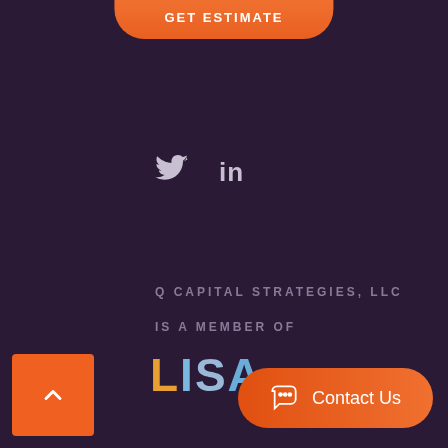[Figure (screenshot): Orange GET ESTIMATE button at top of page, partially cropped]
[Figure (logo): Twitter bird icon and LinkedIn 'in' text as social media icons]
Q CAPITAL STRATEGIES, LLC
IS A MEMBER OF
[Figure (logo): LISA logo with L in orange/gold, ISA in blue tones]
© Q Capital Strategies 2020, All Rights Reserved.
[Figure (other): Orange scroll-to-top button with up arrow caret]
[Figure (other): Orange Contact Us button with chat bubble icon]